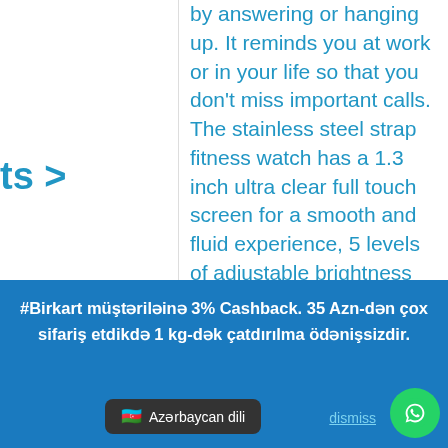ts >
nics |
ces,
,
by answering or hanging up. It reminds you at work or in your life so that you don't miss important calls. The stainless steel strap fitness watch has a 1.3 inch ultra clear full touch screen for a smooth and fluid experience, 5 levels of adjustable brightness
#Birkart müştəriləinə 3% Cashback. 35 Azn-dən çox sifariş etdikdə 1 kg-dək çatdırılma ödənişsizdir.
🇦🇿 Azərbaycan dili
dismiss